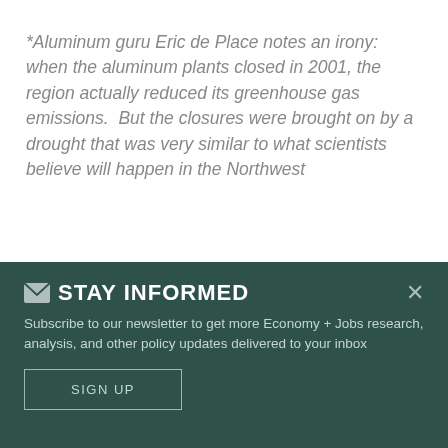*Aluminum guru Eric de Place notes an irony: when the aluminum plants closed in 2001, the region actually reduced its greenhouse gas emissions.  But the closures were brought on by a drought that was very similar to what scientists believe will happen in the Northwest
STAY INFORMED
Subscribe to our newsletter to get more Economy + Jobs research, analysis, and other policy updates delivered to your inbox
SIGN UP